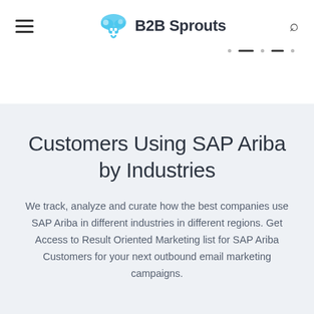B2B Sprouts
Customers Using SAP Ariba by Industries
We track, analyze and curate how the best companies use SAP Ariba in different industries in different regions. Get Access to Result Oriented Marketing list for SAP Ariba Customers for your next outbound email marketing campaigns.